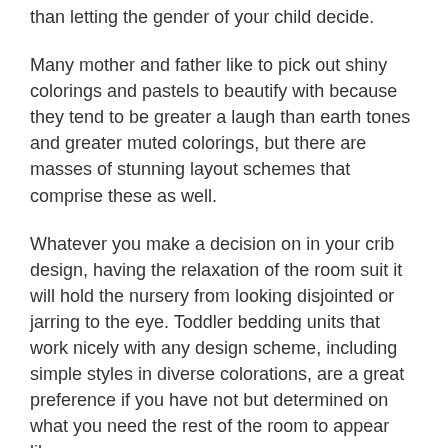than letting the gender of your child decide.
Many mother and father like to pick out shiny colorings and pastels to beautify with because they tend to be greater a laugh than earth tones and greater muted colorings, but there are masses of stunning layout schemes that comprise these as well.
Whatever you make a decision on in your crib design, having the relaxation of the room suit it will hold the nursery from looking disjointed or jarring to the eye. Toddler bedding units that work nicely with any design scheme, including simple styles in diverse colorations, are a great preference if you have not but determined on what you need the rest of the room to appear like.